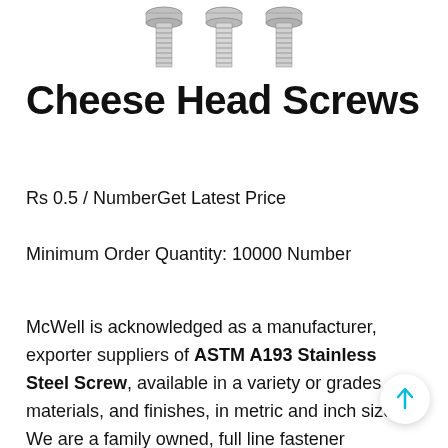[Figure (photo): Three cheese head screws / bolts shown at top of page, metallic silver finish, threaded shafts visible]
Cheese Head Screws
Rs 0.5 / NumberGet Latest Price
Minimum Order Quantity: 10000 Number
McWell is acknowledged as a manufacturer, exporter suppliers of ASTM A193 Stainless Steel Screw, available in a variety or grades, materials, and finishes, in metric and inch sizes. We are a family owned, full line fastener distributor specializing in fastener products for companies involved in Equipment Manufacturing, Mining, Oil Refineries, Chemical